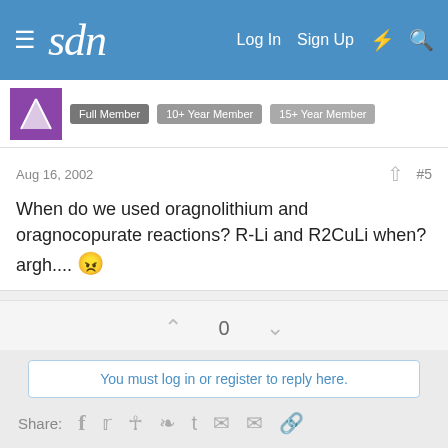sdn — Log In  Sign Up
Full Member  10+ Year Member  15+ Year Member
Aug 16, 2002  #5
When do we used oragnolithium and oragnocopurate reactions? R-Li and R2CuLi when? argh....
0
You must log in or register to reply here.
Share:
Next unread thread
Similar threads